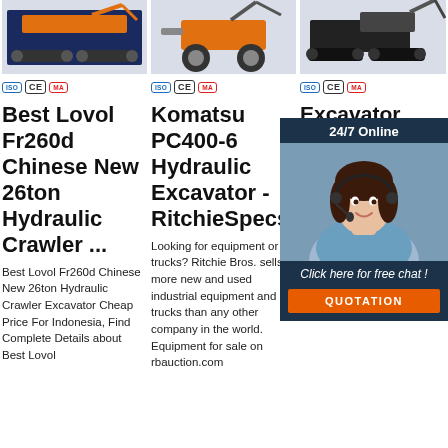[Figure (photo): Three product images of hydraulic crawler excavators and drilling equipment shown in top row]
ISO CE MA (certification badges) x3 columns
Best Lovol Fr260d Chinese New 26ton Hydraulic Crawler ...
Komatsu PC400-6 Hydraulic Excavator - RitchieSpecs
Excavator Rental Sizes Cat ...
Best Lovol Fr260d Chinese New 26ton Hydraulic Crawler Excavator Cheap Price For Indonesia, Find Complete Details about Best Lovol
Looking for equipment or trucks? Ritchie Bros. sells more new and used industrial equipment and trucks than any other company in the world. Equipment for sale on rbauction.com
Full-size excavator rental: We have an extensive selection of full-size Cat hydraulic excavators for rent, with small, medium
[Figure (photo): 24/7 Online chat agent - woman with headset, dark background overlay with chat button and QUOTATION button]